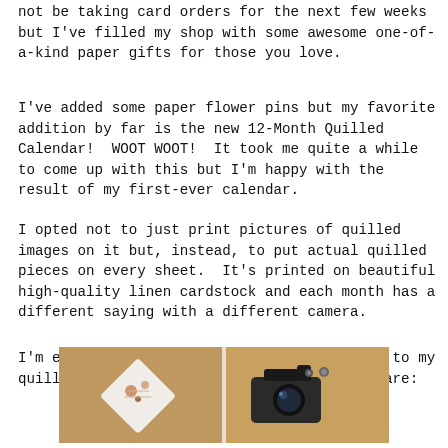not be taking card orders for the next few weeks but I've filled my shop with some awesome one-of-a-kind paper gifts for those you love.
I've added some paper flower pins but my favorite addition by far is the new 12-Month Quilled Calendar!  WOOT WOOT!  It took me quite a while to come up with this but I'm happy with the result of my first-ever calendar.
I opted not to just print pictures of quilled images on it but, instead, to put actual quilled pieces on every sheet.  It's printed on beautiful high-quality linen cardstock and each month has a different saying with a different camera.
I'm excited to have added a few new cameras to my quilled vintage camera line-up.  Here they are:
[Figure (photo): Two-panel photo showing quilled paper art pieces on a warm brown/tan background. Left panel shows a heart-shaped quilled piece. Right panel shows a quilled vintage camera piece.]